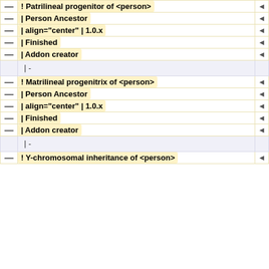| — | ! Patrilineal progenitor of <person> | ◄ |
| — | | Person Ancestor | ◄ |
| — | | align="center" | 1.0.x | ◄ |
| — | | Finished | ◄ |
| — | | Addon creator | ◄ |
|  | |- |  |
| — | ! Matrilineal progenitrix of <person> | ◄ |
| — | | Person Ancestor | ◄ |
| — | | align="center" | 1.0.x | ◄ |
| — | | Finished | ◄ |
| — | | Addon creator | ◄ |
|  | |- |  |
| — | ! Y-chromosomal inheritance of <person> | ◄ |